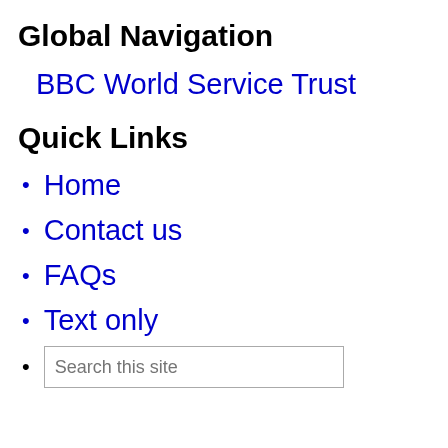Global Navigation
BBC World Service Trust
Quick Links
Home
Contact us
FAQs
Text only
Search this site